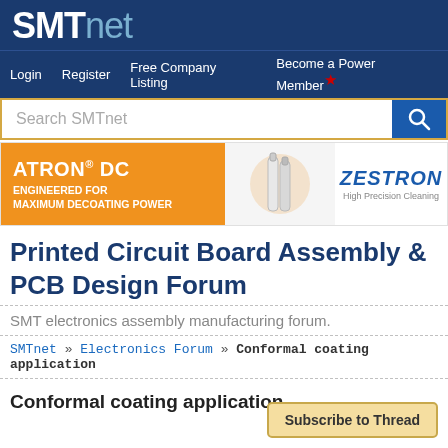SMTnet
Login   Register   Free Company Listing   Become a Power Member
[Figure (screenshot): SMTnet website header with logo, navigation bar, search bar, and Zestron ATRON DC advertisement banner]
Printed Circuit Board Assembly & PCB Design Forum
SMT electronics assembly manufacturing forum.
SMTnet » Electronics Forum » Conformal coating application
Conformal coating application
Subscribe to Thread